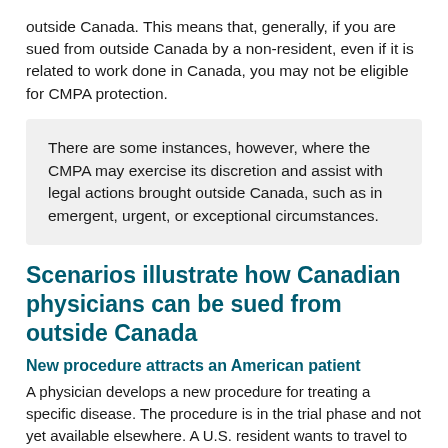outside Canada. This means that, generally, if you are sued from outside Canada by a non-resident, even if it is related to work done in Canada, you may not be eligible for CMPA protection.
There are some instances, however, where the CMPA may exercise its discretion and assist with legal actions brought outside Canada, such as in emergent, urgent, or exceptional circumstances.
Scenarios illustrate how Canadian physicians can be sued from outside Canada
New procedure attracts an American patient
A physician develops a new procedure for treating a specific disease. The procedure is in the trial phase and not yet available elsewhere. A U.S. resident wants to travel to Canada to receive the treatment. Other treatments for the